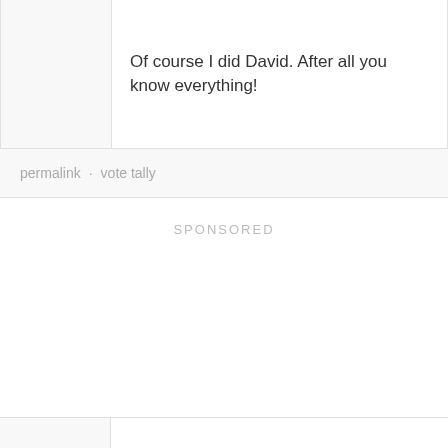Of course I did David. After all you know everything!
permalink · vote tally
SPONSORED